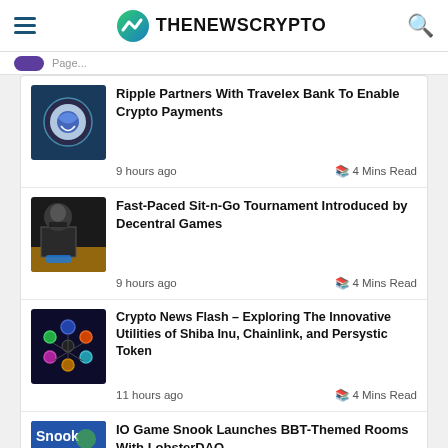THENEWSCRYPTO
Ripple Partners With Travelex Bank To Enable Crypto Payments — 9 hours ago · 4 Mins Read
Fast-Paced Sit-n-Go Tournament Introduced by Decentral Games — 9 hours ago · 4 Mins Read
Crypto News Flash – Exploring The Innovative Utilities of Shiba Inu, Chainlink, and Persystic Token — 11 hours ago · 4 Mins Read
IO Game Snook Launches BBT-Themed Rooms With LobsterDAO — 12 hours ago · 4 Mins Read